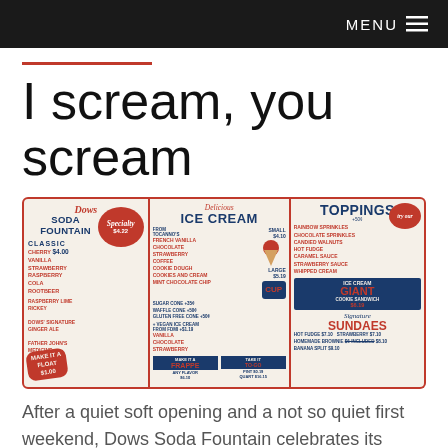MENU ≡
I scream, you scream
[Figure (photo): Three vintage-style retro menu panels for Dows Soda Fountain showing: (1) Classic sodas and specialty drinks, (2) Delicious Ice Cream menu with sizes and cone options, (3) Toppings menu with Giant Cookie Sandwich and Signature Sundaes]
After a quiet soft opening and a not so quiet first weekend, Dows Soda Fountain celebrates its